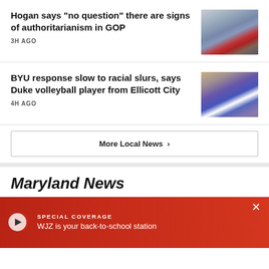Hogan says "no question" there are signs of authoritarianism in GOP
3H AGO
[Figure (photo): Photo of a man wearing glasses and a suit with a red tie, presumably Governor Hogan]
BYU response slow to racial slurs, says Duke volleyball player from Ellicott City
4H AGO
[Figure (photo): Photo of a Duke volleyball player in white uniform hitting a volleyball]
More Local News ›
Maryland News
[Figure (photo): Video thumbnail showing a dark red/maroon scene]
SPECIAL COVERAGE
WJZ is your back-to-school station